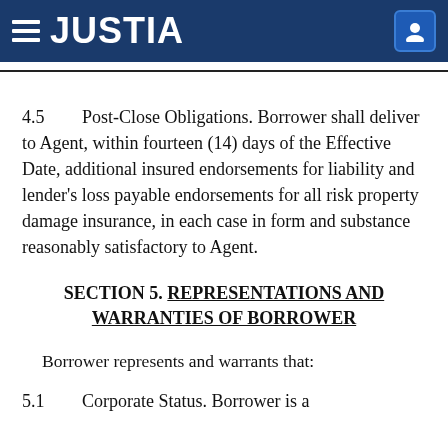JUSTIA
4.5 Post-Close Obligations. Borrower shall deliver to Agent, within fourteen (14) days of the Effective Date, additional insured endorsements for liability and lender's loss payable endorsements for all risk property damage insurance, in each case in form and substance reasonably satisfactory to Agent.
SECTION 5. REPRESENTATIONS AND WARRANTIES OF BORROWER
Borrower represents and warrants that:
5.1 Corporate Status. Borrower is a